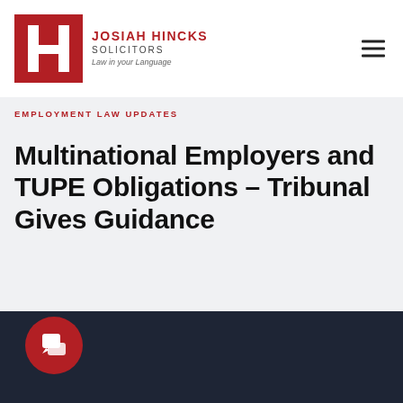[Figure (logo): Josiah Hincks Solicitors logo — red square with white H lettermark, company name and tagline 'Law in your Language']
EMPLOYMENT LAW UPDATES
Multinational Employers and TUPE Obligations – Tribunal Gives Guidance
EMPLOYMENT LAW UPDATES